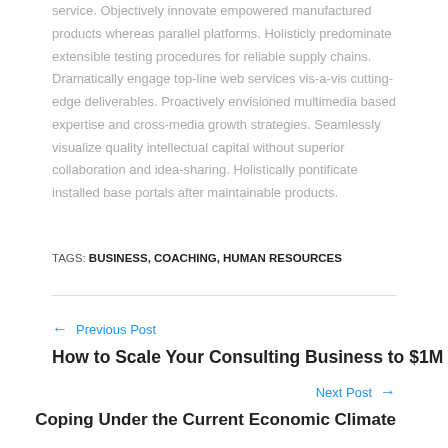service. Objectively innovate empowered manufactured products whereas parallel platforms. Holisticly predominate extensible testing procedures for reliable supply chains. Dramatically engage top-line web services vis-a-vis cutting-edge deliverables. Proactively envisioned multimedia based expertise and cross-media growth strategies. Seamlessly visualize quality intellectual capital without superior collaboration and idea-sharing. Holistically pontificate installed base portals after maintainable products.
TAGS: BUSINESS, COACHING, HUMAN RESOURCES
← Previous Post
How to Scale Your Consulting Business to $1M
Next Post →
Coping Under the Current Economic Climate